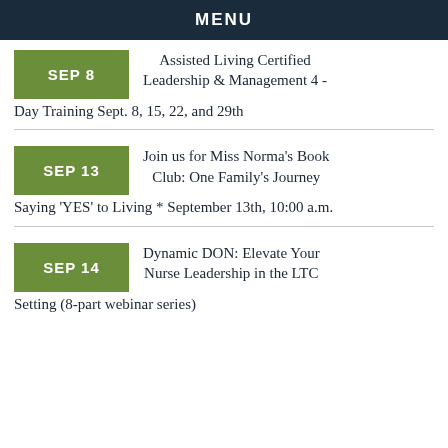MENU
SEP 8 — Assisted Living Certified Leadership & Management 4 - Day Training Sept. 8, 15, 22, and 29th
SEP 13 — Join us for Miss Norma's Book Club: One Family's Journey Saying 'YES' to Living * September 13th, 10:00 a.m.
SEP 14 — Dynamic DON: Elevate Your Nurse Leadership in the LTC Setting (8-part webinar series)